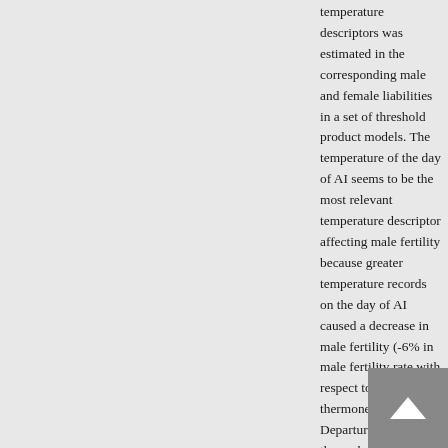temperature descriptors was estimated in the corresponding male and female liabilities in a set of threshold product models. The temperature of the day of AI seems to be the most relevant temperature descriptor affecting male fertility because greater temperature records on the day of AI caused a decrease in male fertility (-6% in male fertility rate with respect to thermoneutrality). Departures from the thermal zone in temperature descriptors covering several periods before AI until early gestation had a negative effect on female fertility, with the pre- and peri-implantational period of the embryos being especially sensitive (from -5 to -6% in female fertility rate with respect to thermoneutrality). The latest period of gestation was unaffected by the temperature. Overall, magnitude and persistency of the temperatures reached in the conditions of this study do not seem to be great enough to have a